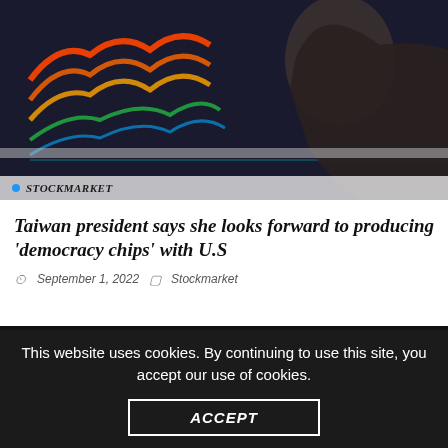[Figure (photo): Dark photo of a person's face in profile with colorful stock market data display overlay (red, orange, green tones) in the background]
STOCKMARKET
Taiwan president says she looks forward to producing 'democracy chips' with U.S
September 1, 2022   Stockmarket
This website uses cookies. By continuing to use this site, you accept our use of cookies.
ACCEPT